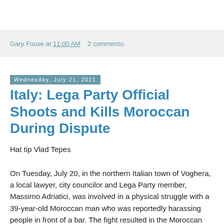Gary Fouse at 11:00 AM   2 comments:
Wednesday, July 21, 2021
Italy: Lega Party Official Shoots and Kills Moroccan During Dispute
Hat tip Vlad Tepes
On Tuesday, July 20, in the northern Italian town of Voghera, a local lawyer, city councilor and Lega Party member, Massimo Adriatici, was involved in a physical struggle with a 39-year-old Moroccan man who was reportedly harassing people in front of a bar. The fight resulted in the Moroccan being shot and killed by a single shot to the chest fired by Adriatici. It is Adriatici's claim that he fired accidentally as he was being pushed to the ground. Adriatici is currently...